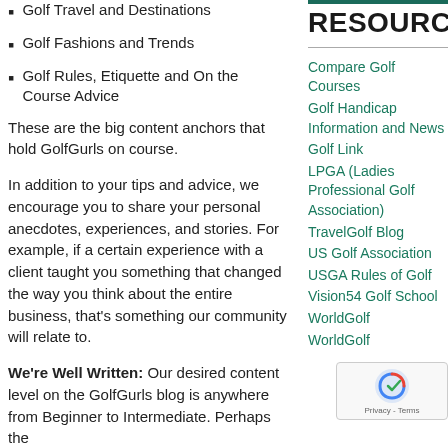Golf Travel and Destinations
Golf Fashions and Trends
Golf Rules, Etiquette and On the Course Advice
These are the big content anchors that hold GolfGurls on course.
In addition to your tips and advice, we encourage you to share your personal anecdotes, experiences, and stories. For example, if a certain experience with a client taught you something that changed the way you think about the entire business, that's something our community will relate to.
We're Well Written: Our desired content level on the GolfGurls blog is anywhere from Beginner to Intermediate. Perhaps the
RESOURCES
Compare Golf Courses
Golf Handicap Information and News
Golf Link
LPGA (Ladies Professional Golf Association)
TravelGolf Blog
US Golf Association
USGA Rules of Golf
Vision54 Golf School
WorldGolf
WorldGolf